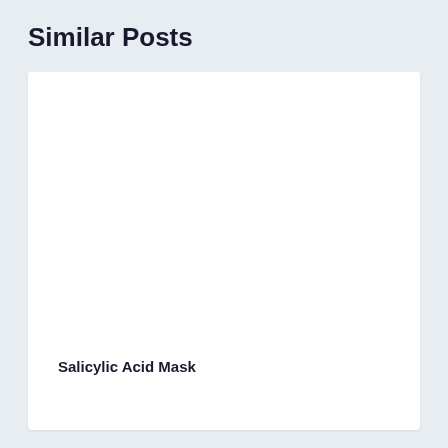Similar Posts
[Figure (photo): White blank image placeholder card]
Salicylic Acid Mask